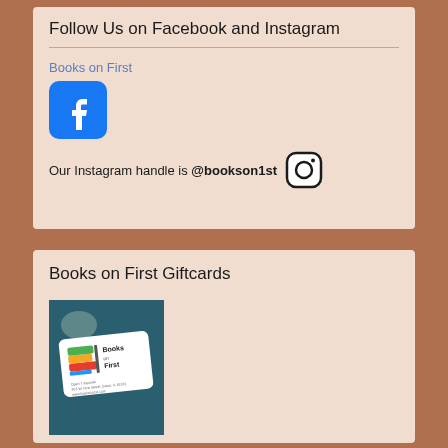Follow Us on Facebook and Instagram
Books on First
[Figure (logo): Facebook logo icon — blue rounded square with white 'f']
Our Instagram handle is @bookson1st
[Figure (logo): Instagram logo icon — rounded square outline with circle and dot]
Books on First Giftcards
[Figure (photo): Photo of a Books on First gift card on a dark teal background, showing colorful stacked books logo and store address text]